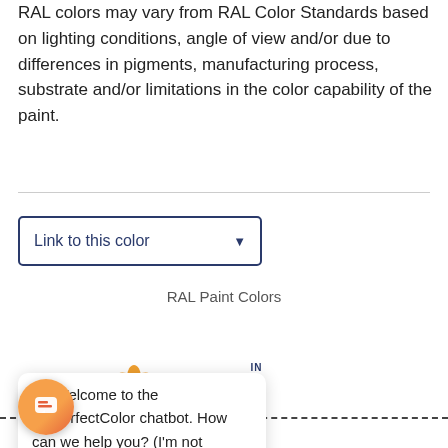RAL colors may vary from RAL Color Standards based on lighting conditions, angle of view and/or due to differences in pigments, manufacturing process, substrate and/or limitations in the color capability of the paint.
Link to this color
RAL Paint Colors
[Figure (screenshot): Chatbot popup from MyPerfectColor website with orange flower logo, close button X, translate icon (IN / A), and message: Hi! Welcome to the MyPerfectColor chatbot. How can we help you? (I'm not human)]
Top Selling Paint Colors
Tools & Resources
Paint Color Fan Decks